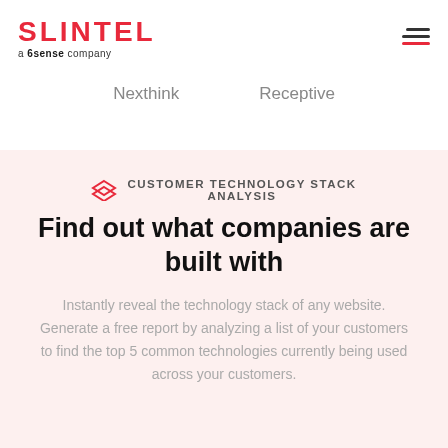SLINTEL a 6sense company
Nexthink    Receptive
CUSTOMER TECHNOLOGY STACK ANALYSIS
Find out what companies are built with
Instantly reveal the technology stack of any website. Generate a free report by analyzing a list of your customers to find the top 5 common technologies currently being used across your customers.